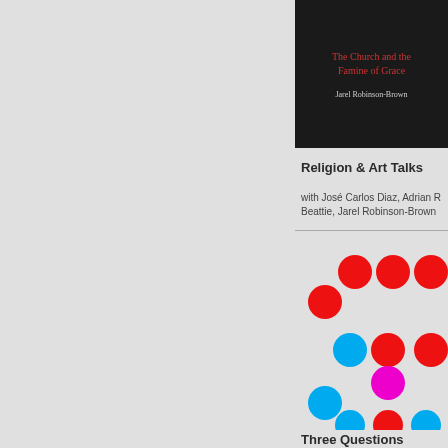[Figure (illustration): Book cover with dark background, red title text 'The Church and the Famine of Grace' and author name 'Jarel Robinson-Brown']
Religion & Art Talks
with José Carlos Diaz, Adrian R... Beattie, Jarel Robinson-Brown
[Figure (infographic): Scattered colored dots in red, blue, and magenta arranged in a decorative pattern]
Three Questions